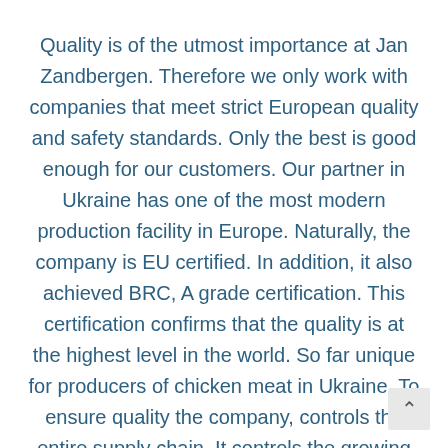Quality is of the utmost importance at Jan Zandbergen. Therefore we only work with companies that meet strict European quality and safety standards. Only the best is good enough for our customers. Our partner in Ukraine has one of the most modern production facility in Europe. Naturally, the company is EU certified. In addition, it also achieved BRC, A grade certification. This certification confirms that the quality is at the highest level in the world. So far unique for producers of chicken meat in Ukraine. To ensure quality the company, controls the entire supply chain. It controls the growing of corn and raising of poultry, and it features its own slaughterhouses and modern facilities for further processing of the chicken products.